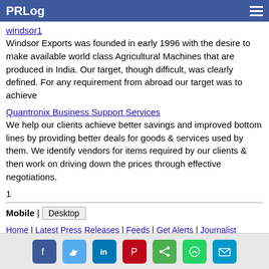PRLog
windsor1
Windsor Exports was founded in early 1996 with the desire to make available world class Agricultural Machines that are produced in India. Our target, though difficult, was clearly defined. For any requirement from abroad our target was to achieve
Quantronix Business Support Services
We help our clients achieve better savings and improved bottom lines by providing better deals for goods & services used by them. We identify vendors for items required by our clients & then work on driving down the prices through effective negotiations.
1
Mobile | Desktop
Home | Latest Press Releases | Feeds | Get Alerts | Journalist Account | PR Newswire Distribution | Privacy | TOS | Contact | Copyright | About
[Figure (infographic): Social media sharing icons: Facebook, Twitter, LinkedIn, Pinterest, Share, WhatsApp, Email]